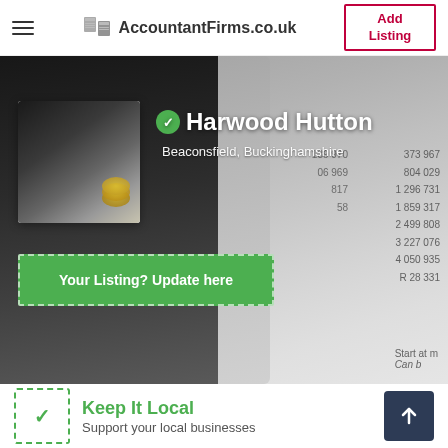AccountantFirms.co.uk | Add Listing
[Figure (photo): Hero background image of a calculator with coins on top and financial documents with numbers in the background]
Harwood Hutton
Beaconsfield, Buckinghamshire
Your Listing? Update here
Keep It Local
Support your local businesses